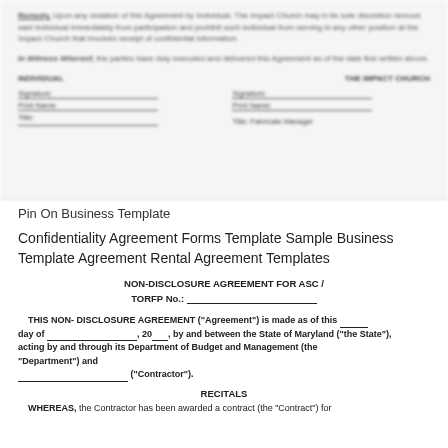[Figure (other): Blurred/redacted section of a confidentiality agreement document showing Remedy clause, In Witness Whereof clause, and signature blocks for INDIVIDUAL and THE IMPACT CHURCH]
Pin On Business Template
Confidentiality Agreement Forms Template Sample Business Template Agreement Rental Agreement Templates
NON-DISCLOSURE AGREEMENT FOR ASC / TORFP No.:
THIS NON- DISCLOSURE AGREEMENT ("Agreement") is made as of this ___ day of _______________, 20__, by and between the State of Maryland ("the State"), acting by and through its Department of Budget and Management (the "Department") and ___________________ ("Contractor").
RECITALS
WHEREAS, the Contractor has been awarded a contract (the "Contract") for